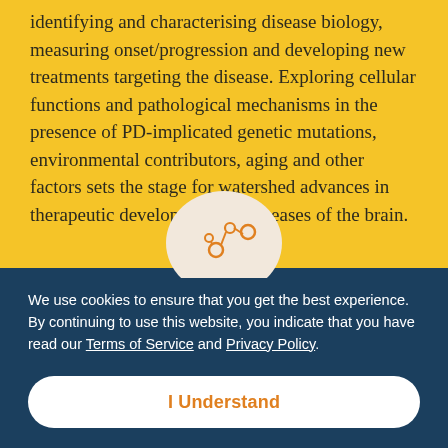identifying and characterising disease biology, measuring onset/progression and developing new treatments targeting the disease. Exploring cellular functions and pathological mechanisms in the presence of PD-implicated genetic mutations, environmental contributors, aging and other factors sets the stage for watershed advances in therapeutic development for diseases of the brain.
[Figure (illustration): A circular icon with a beige/cream background showing an orange molecular/network diagram with connected nodes]
We use cookies to ensure that you get the best experience. By continuing to use this website, you indicate that you have read our Terms of Service and Privacy Policy.
I Understand